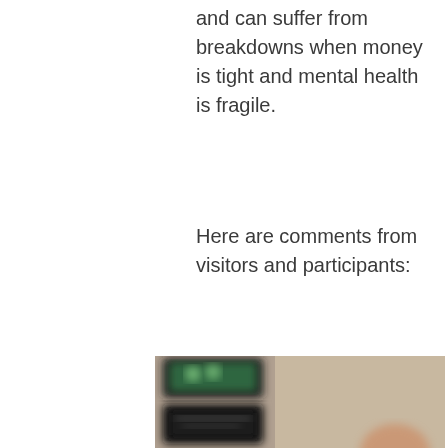and can suffer from breakdowns when money is tight and mental health is fragile.
Here are comments from visitors and participants:
[Figure (photo): A blurry photograph showing what appears to be two dark framed posters or signs mounted on a beige/tan wall. The upper poster has a dark background with a green element and two figures. The lower poster is dark/black. In the lower right, part of what appears to be a person's head is visible.]